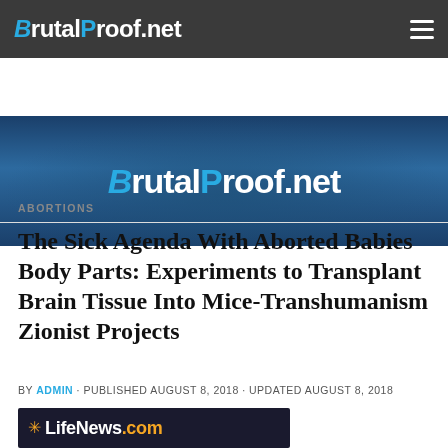BrutalProof.net
[Figure (photo): Banner image with mountain/valley landscape in dark blue tones with BrutalProof.net logo overlay]
ABORTIONS
The Sick Agenda With Aborted Babies Body Parts: Experiments to Transplant Brain Tissue Into Mice-Transhumanism Zionist Projects
BY ADMIN · PUBLISHED AUGUST 8, 2018 · UPDATED AUGUST 8, 2018
[Figure (logo): LifeNews.com logo — dark background with star bullet, white LifeNews and gold .com text]